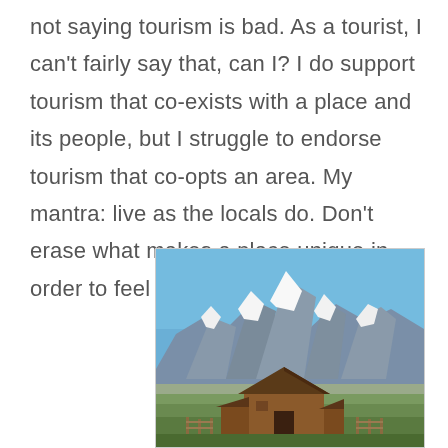not saying tourism is bad. As a tourist, I can't fairly say that, can I? I do support tourism that co-exists with a place and its people, but I struggle to endorse tourism that co-opts an area. My mantra: live as the locals do. Don't erase what makes a place unique in order to feel more comfortable.
[Figure (photo): Photograph of a rustic wooden barn in a green meadow with the snow-capped Grand Teton mountain range visible in the background under a clear blue sky.]